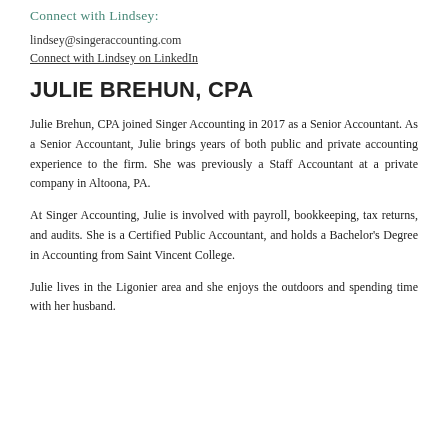Connect with Lindsey:
lindsey@singeraccounting.com
Connect with Lindsey on LinkedIn
JULIE BREHUN, CPA
Julie Brehun, CPA joined Singer Accounting in 2017 as a Senior Accountant. As a Senior Accountant, Julie brings years of both public and private accounting experience to the firm. She was previously a Staff Accountant at a private company in Altoona, PA.
At Singer Accounting, Julie is involved with payroll, bookkeeping, tax returns, and audits. She is a Certified Public Accountant, and holds a Bachelor's Degree in Accounting from Saint Vincent College.
Julie lives in the Ligonier area and she enjoys the outdoors and spending time with her husband.